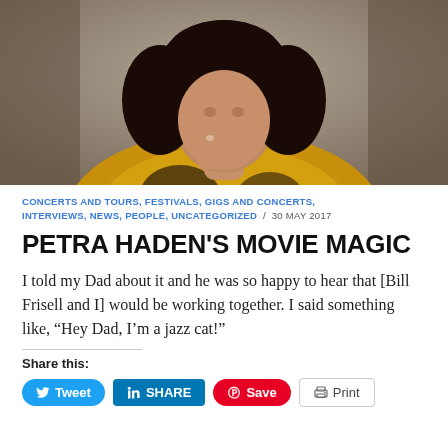[Figure (photo): Portrait photo of Petra Haden, a woman with dark curly hair, wearing a yellow and black floral top, resting her chin on her hand in a thoughtful pose against a gray background.]
CONCERTS AND TOURS, FESTIVALS, GIGS AND CONCERTS, INTERVIEWS, NEWS, PEOPLE, UNCATEGORIZED / 30 MAY 2017
PETRA HADEN'S MOVIE MAGIC
I told my Dad about it and he was so happy to hear that [Bill Frisell and I] would be working together. I said something like, “Hey Dad, I’m a jazz cat!”
Share this:
Tweet | SHARE | Save | Print